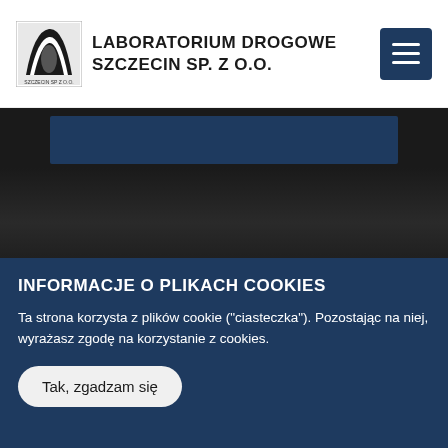LABORATORIUM DROGOWE SZCZECIN SP. Z O.O.
[Figure (screenshot): Dark hero banner with blue rectangular bar overlay, part of website above the fold]
[Figure (photo): Gray product image area with CONTROLS label/logo in center]
INFORMACJE O PLIKACH COOKIES
Ta strona korzysta z plików cookie ("ciasteczka"). Pozostając na niej, wyrażasz zgodę na korzystanie z cookies.
Tak, zgadzam się